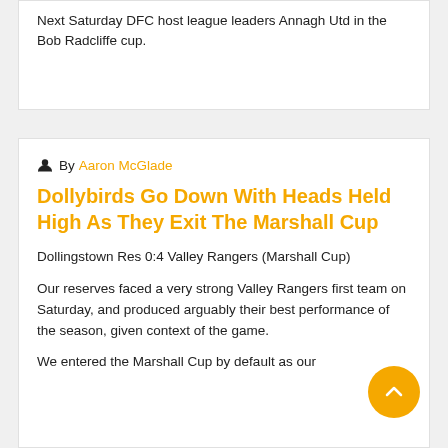Next Saturday DFC host league leaders Annagh Utd in the Bob Radcliffe cup.
By Aaron McGlade
Dollybirds Go Down With Heads Held High As They Exit The Marshall Cup
Dollingstown Res 0:4 Valley Rangers (Marshall Cup)
Our reserves faced a very strong Valley Rangers first team on Saturday, and produced arguably their best performance of the season, given context of the game.
We entered the Marshall Cup by default as our